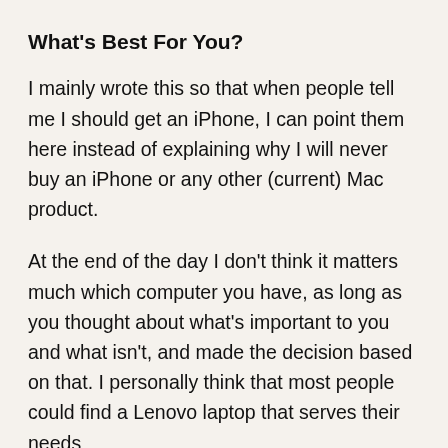What's Best For You?
I mainly wrote this so that when people tell me I should get an iPhone, I can point them here instead of explaining why I will never buy an iPhone or any other (current) Mac product.
At the end of the day I don't think it matters much which computer you have, as long as you thought about what's important to you and what isn't, and made the decision based on that. I personally think that most people could find a Lenovo laptop that serves their needs